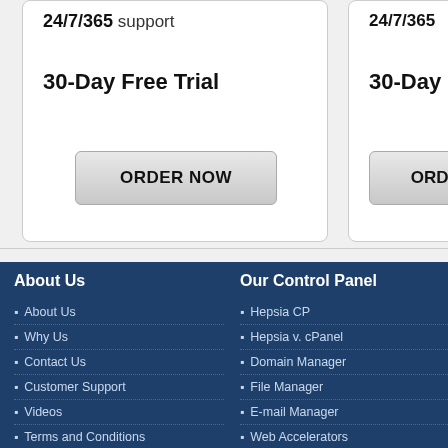24/7/365 support
30-Day Free Trial
ORDER NOW
24/7/365
30-Day Fre…
ORDER N…
About Us
About Us
Why Us
Contact Us
Customer Support
Videos
Terms and Conditions
Our Control Panel
Hepsia CP
Hepsia v. cPanel
Domain Manager
File Manager
E-mail Manager
Web Accelerators